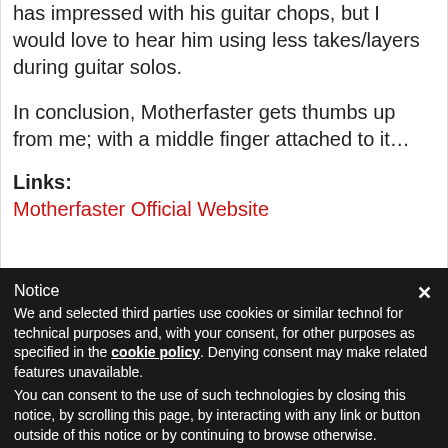has impressed with his guitar chops, but I would love to hear him using less takes/layers during guitar solos.
In conclusion, Motherfaster gets thumbs up from me; with a middle finger attached to it…
Links:
Motherfaster Official Website
Notice
We and selected third parties use cookies or similar technol for technical purposes and, with your consent, for other purposes as specified in the cookie policy. Denying consent may make related features unavailable. You can consent to the use of such technologies by closing this notice, by scrolling this page, by interacting with any link or button outside of this notice or by continuing to browse otherwise.